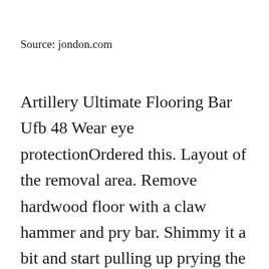Source: jondon.com
Artillery Ultimate Flooring Bar Ufb 48 Wear eye protectionOrdered this. Layout of the removal area. Remove hardwood floor with a claw hammer and pry bar. Shimmy it a bit and start pulling up prying the baseboard from the wall. Glued. When it comes to removing hardwood flooring there are a few tools that will make your job easier.